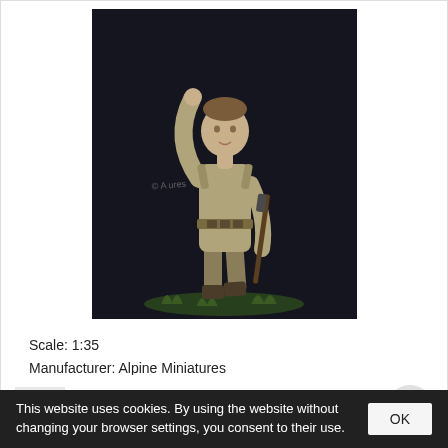[Figure (photo): A painted 1:35 scale military miniature figure of a WW2 soldier in khaki uniform, raising one arm, holding a rifle, standing on grass against a dark background. Watermark reads © Alpine Miniatures.]
Scale: 1:35
Manufacturer: Alpine Miniatures
Product code: ALP-35108
Availability: [signal bars] in stock!
20.32 AUD
or 10900 pts.
Add to shopping cart
WW2 US Infantry Winter
This website uses cookies. By using the website without changing your browser settings, you consent to their use. OK